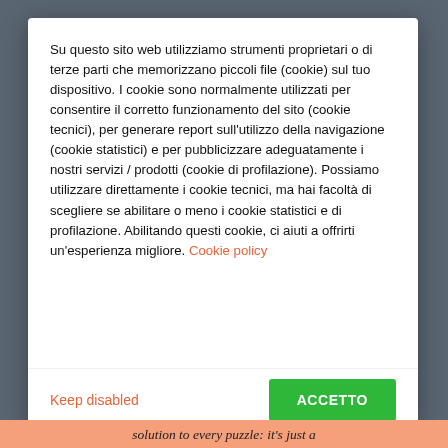Su questo sito web utilizziamo strumenti proprietari o di terze parti che memorizzano piccoli file (cookie) sul tuo dispositivo. I cookie sono normalmente utilizzati per consentire il corretto funzionamento del sito (cookie tecnici), per generare report sull'utilizzo della navigazione (cookie statistici) e per pubblicizzare adeguatamente i nostri servizi / prodotti (cookie di profilazione). Possiamo utilizzare direttamente i cookie tecnici, ma hai facoltà di scegliere se abilitare o meno i cookie statistici e di profilazione. Abilitando questi cookie, ci aiuti a offrirti un'esperienza migliore. Cookie policy
Keep disabled
ACCETTO
solution to every puzzle: it's just a